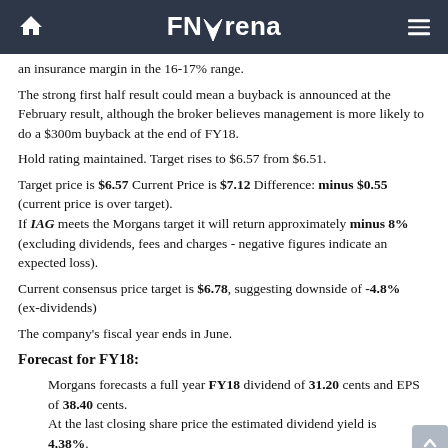FNArena
an insurance margin in the 16-17% range.
The strong first half result could mean a buyback is announced at the February result, although the broker believes management is more likely to do a $300m buyback at the end of FY18.
Hold rating maintained. Target rises to $6.57 from $6.51.
Target price is $6.57 Current Price is $7.12 Difference: minus $0.55 (current price is over target).
If IAG meets the Morgans target it will return approximately minus 8% (excluding dividends, fees and charges - negative figures indicate an expected loss).
Current consensus price target is $6.78, suggesting downside of -4.8% (ex-dividends)
The company's fiscal year ends in June.
Forecast for FY18:
Morgans forecasts a full year FY18 dividend of 31.20 cents and EPS of 38.40 cents.
At the last closing share price the estimated dividend yield is 4.38%.
At the last closing share price the estimated EPS return...